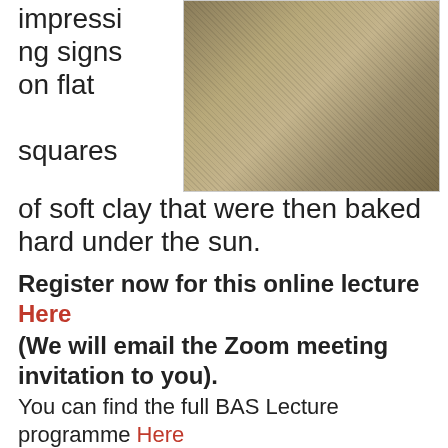impressing signs on flat squares of soft clay that were then baked hard under the sun.
[Figure (photo): Photograph of an ancient cuneiform clay tablet with impressed wedge-shaped signs, baked hard, displayed against a dark background.]
Register now for this online lecture Here
(We will email the Zoom meeting invitation to you).
You can find the full BAS Lecture programme Here